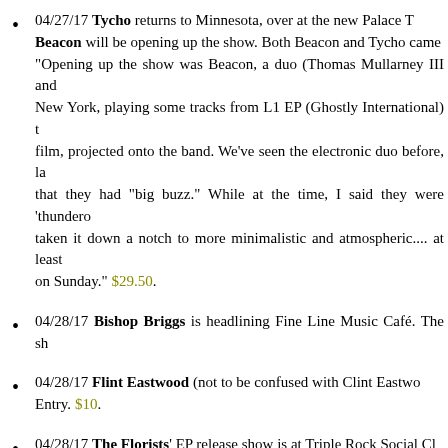04/27/17 Tycho returns to Minnesota, over at the new Palace T... Beacon will be opening up the show. Both Beacon and Tycho came... "Opening up the show was Beacon, a duo (Thomas Mullarney III and... New York, playing some tracks from L1 EP (Ghostly International) t... film, projected onto the band. We've seen the electronic duo before, la... that they had "big buzz." While at the time, I said they were 'thundero... taken it down a notch to more minimalistic and atmospheric.... at least... on Sunday." $29.50.
04/28/17 Bishop Briggs is headlining Fine Line Music Café. The sh...
04/28/17 Flint Eastwood (not to be confused with Clint Eastwo... Entry. $10.
04/28/17 The Florists' EP release show is at Triple Rock Social Cl...
04/28/17 The xx has a sold out show at the new Palace Theatre in... See You debut at #1 in the UK and #2 in the US album charts. The las... 2012 and we said, "The xx show was a little somber, with flashing l... was expecting more dancing from the audience, but for the most par...